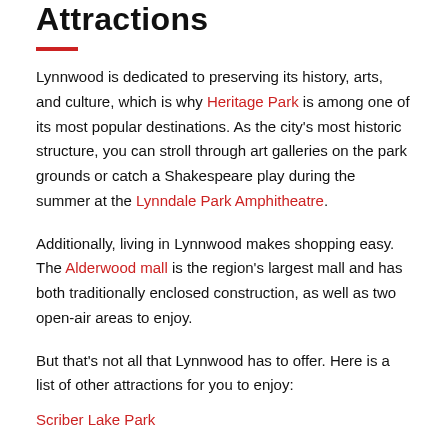Attractions
Lynnwood is dedicated to preserving its history, arts, and culture, which is why Heritage Park is among one of its most popular destinations. As the city’s most historic structure, you can stroll through art galleries on the park grounds or catch a Shakespeare play during the summer at the Lynndale Park Amphitheatre.
Additionally, living in Lynnwood makes shopping easy. The Alderwood mall is the region’s largest mall and has both traditionally enclosed construction, as well as two open-air areas to enjoy.
But that’s not all that Lynnwood has to offer. Here is a list of other attractions for you to enjoy:
Scriber Lake Park